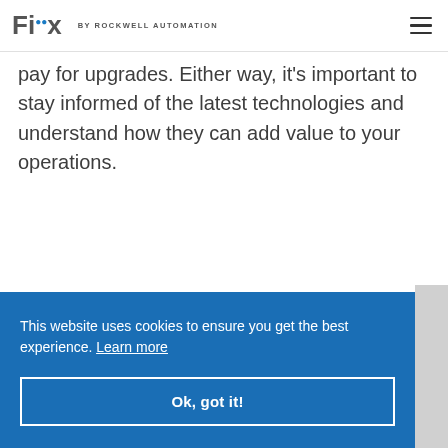Fiix BY ROCKWELL AUTOMATION
pay for upgrades. Either way, it's important to stay informed of the latest technologies and understand how they can add value to your operations.
This website uses cookies to ensure you get the best experience. Learn more
Ok, got it!